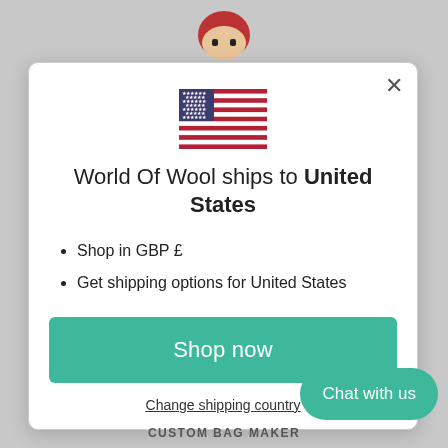[Figure (screenshot): US flag SVG icon centered in modal]
World Of Wool ships to United States
Shop in GBP £
Get shipping options for United States
Shop now
Change shipping country
Chat with us
CUSTOM BAG MAKER